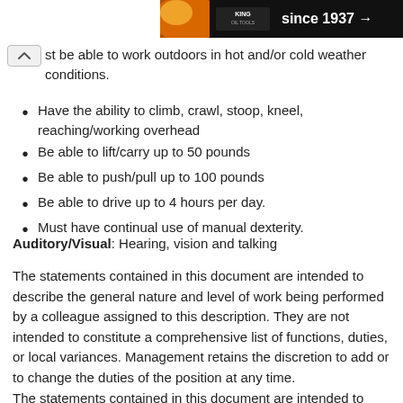[Figure (photo): King Oil Tools banner ad with logo and text 'since 1937 →' on dark background]
st be able to work outdoors in hot and/or cold weather conditions.
Have the ability to climb, crawl, stoop, kneel, reaching/working overhead
Be able to lift/carry up to 50 pounds
Be able to push/pull up to 100 pounds
Be able to drive up to 4 hours per day.
Must have continual use of manual dexterity.
Auditory/Visual: Hearing, vision and talking
The statements contained in this document are intended to describe the general nature and level of work being performed by a colleague assigned to this description. They are not intended to constitute a comprehensive list of functions, duties, or local variances. Management retains the discretion to add or to change the duties of the position at any time.
The statements contained in this document are intended to